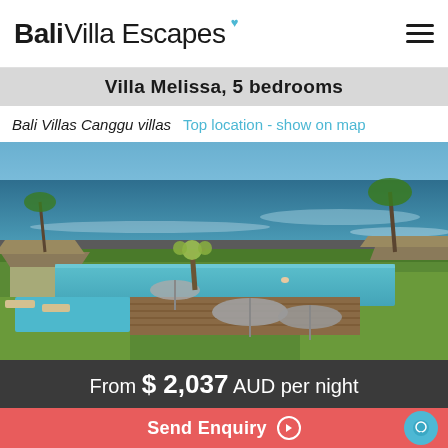Bali Villa Escapes
Villa Melissa, 5 bedrooms
Bali Villas Canggu villas  Top location - show on map
[Figure (photo): Aerial view of Villa Melissa in Canggu, Bali, showing infinity pool, traditional thatched roof pavilions, tropical gardens and beachfront with ocean in background]
From $ 2,037 AUD per night
Send Enquiry ▶